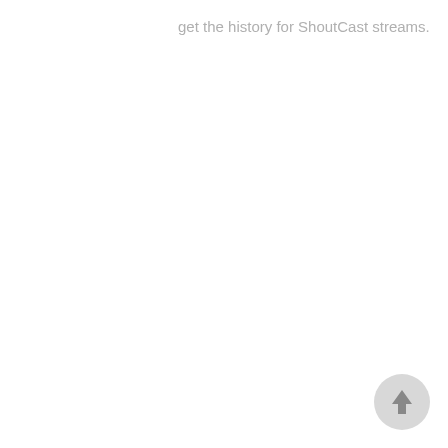get the history for ShoutCast streams.
[Figure (other): A circular back-to-top button with an upward-pointing arrow, positioned in the bottom-right corner of the page.]